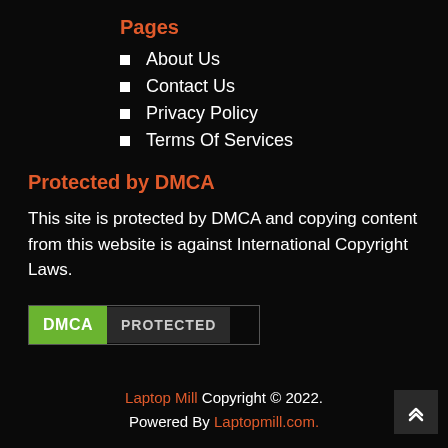Pages
About Us
Contact Us
Privacy Policy
Terms Of Services
Protected by DMCA
This site is protected by DMCA and copying content from this website is against International Copyright Laws.
[Figure (logo): DMCA Protected badge with green DMCA label and dark PROTECTED text]
Laptop Mill Copyright © 2022. Powered By Laptopmill.com.